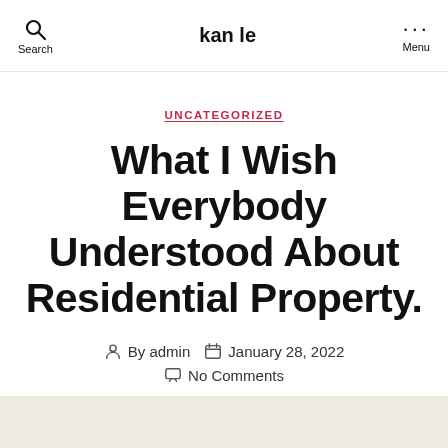kan le
UNCATEGORIZED
What I Wish Everybody Understood About Residential Property.
By admin  January 28, 2022  No Comments